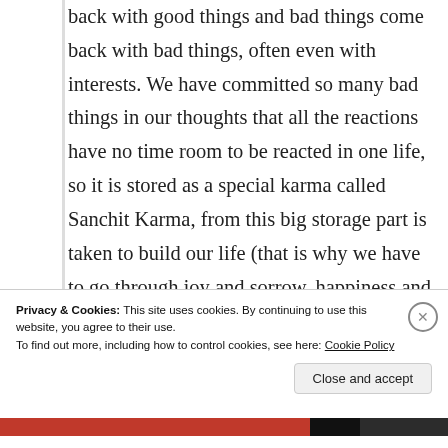back with good things and bad things come back with bad things, often even with interests. We have committed so many bad things in our thoughts that all the reactions have no time room to be reacted in one life, so it is stored as a special karma called Sanchit Karma, from this big storage part is taken to build our life (that is why we have to go through joy and sorrow, happiness and sadness in our life – as a reaction of the past) – this karma is called Pralabdha karma and then there is a karma type that blooms in the very near future (smaller
Privacy & Cookies: This site uses cookies. By continuing to use this website, you agree to their use.
To find out more, including how to control cookies, see here: Cookie Policy